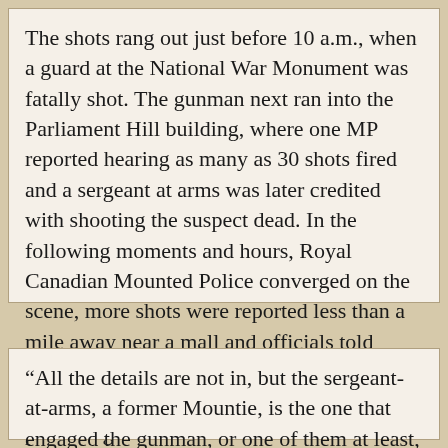The shots rang out just before 10 a.m., when a guard at the National War Monument was fatally shot. The gunman next ran into the Parliament Hill building, where one MP reported hearing as many as 30 shots fired and a sergeant at arms was later credited with shooting the suspect dead. In the following moments and hours, Royal Canadian Mounted Police converged on the scene, more shots were reported less than a mile away near a mall and officials told Ottawa residents to barricade themselves in their homes as they searched for more possible gunmen.
“All the details are not in, but the sergeant-at-arms, a former Mountie, is the one that engaged the gunman, or one of them at least, and stopped this,” Fantino said from inside Centre Block. “He did a great job